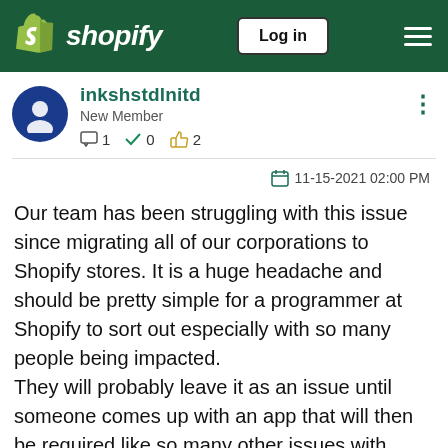[Figure (screenshot): Shopify navigation bar with logo, Log in button, and hamburger menu on dark green background]
inkshstdlnitd
New Member
💬 1   ✔ 0   👍 2
11-15-2021 02:00 PM
Our team has been struggling with this issue since migrating all of our corporations to Shopify stores. It is a huge headache and should be pretty simple for a programmer at Shopify to sort out especially with so many people being impacted.
They will probably leave it as an issue until someone comes up with an app that will then be required like so many other issues with Shopify!